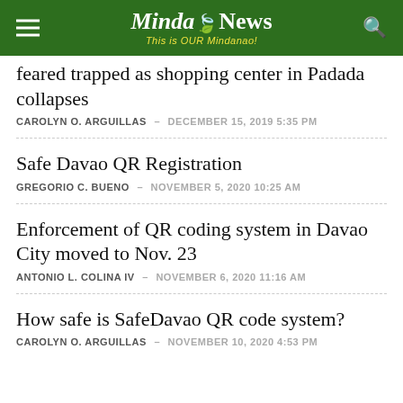MindaNews - This is OUR Mindanao!
feared trapped as shopping center in Padada collapses
CAROLYN O. ARGUILLAS – DECEMBER 15, 2019 5:35 PM
Safe Davao QR Registration
GREGORIO C. BUENO – NOVEMBER 5, 2020 10:25 AM
Enforcement of QR coding system in Davao City moved to Nov. 23
ANTONIO L. COLINA IV – NOVEMBER 6, 2020 11:16 AM
How safe is SafeDavao QR code system?
CAROLYN O. ARGUILLAS – NOVEMBER 10, 2020 4:53 PM